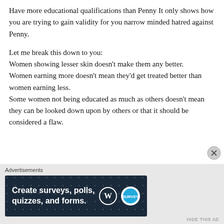Have more educational qualifications than Penny It only shows how you are trying to gain validity for you narrow minded hatred against Penny.

Let me break this down to you:
Women showing lesser skin doesn't make them any better.
Women earning more doesn't mean they'd get treated better than women earning less.
Some women not being educated as much as others doesn't mean they can be looked down upon by others or that it should be considered a flaw.
[Figure (screenshot): Advertisement banner for WordPress survey/poll/quiz creation tool]
Advertisements